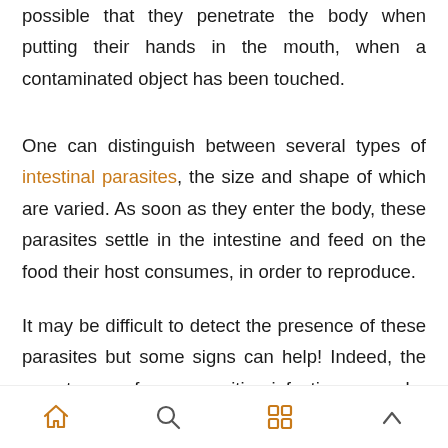possible that they penetrate the body when putting their hands in the mouth, when a contaminated object has been touched.
One can distinguish between several types of intestinal parasites, the size and shape of which are varied. As soon as they enter the body, these parasites settle in the intestine and feed on the food their host consumes, in order to reproduce.
It may be difficult to detect the presence of these parasites but some signs can help! Indeed, the symptoms of a parasitic infection can be confused with
navigation icons: home, search, apps, up